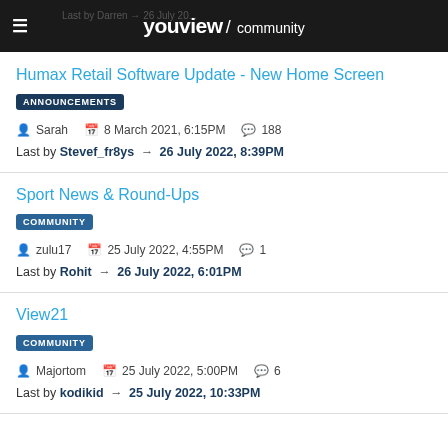youview / community
Humax Retail Software Update - New Home Screen
ANNOUNCEMENTS
Sarah  8 March 2021, 6:15PM  188
Last by Stevef_fr8ys → 26 July 2022, 8:39PM
Sport News & Round-Ups
COMMUNITY
zulu17  25 July 2022, 4:55PM  1
Last by Rohit → 26 July 2022, 6:01PM
View21
COMMUNITY
Majortom  25 July 2022, 5:00PM  6
Last by kodikid → 25 July 2022, 10:33PM